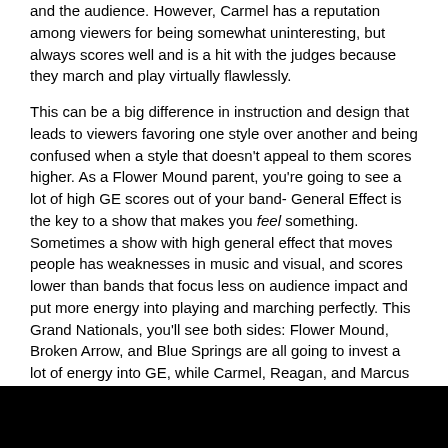and the audience. However, Carmel has a reputation among viewers for being somewhat uninteresting, but always scores well and is a hit with the judges because they march and play virtually flawlessly.
This can be a big difference in instruction and design that leads to viewers favoring one style over another and being confused when a style that doesn't appeal to them scores higher. As a Flower Mound parent, you're going to see a lot of high GE scores out of your band- General Effect is the key to a show that makes you feel something. Sometimes a show with high general effect that moves people has weaknesses in music and visual, and scores lower than bands that focus less on audience impact and put more energy into playing and marching perfectly. This Grand Nationals, you'll see both sides: Flower Mound, Broken Arrow, and Blue Springs are all going to invest a lot of energy into GE, while Carmel, Reagan, and Marcus are going to have arguably more skill when it comes to the way they play the music and move around the field. Both are valid ways to score well and win competitions. That's the entire reason we have captions: the person with the best General Effect will not always have the best music, even though music factors into GE. All three categories deserve to be rewarded.
I would also recommend watching sections your kid isn't in to familiarize yourself with the standards. BA and Avon are going to have crazy guards, and sometimes someone who only really